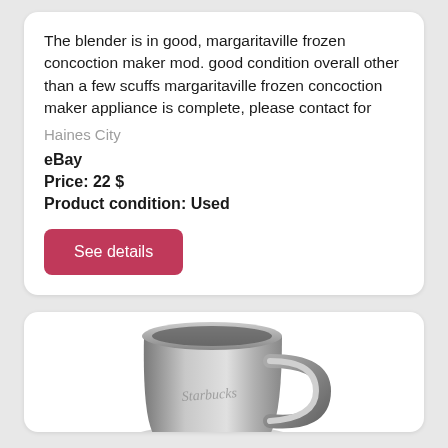The blender is in good, margaritaville frozen concoction maker mod. good condition overall other than a few scuffs margaritaville frozen concoction maker appliance is complete, please contact for
Haines City
eBay
Price: 22 $
Product condition: Used
See details
[Figure (photo): A stainless steel / brushed metal coffee mug with a handle, showing a script logo on the side, photographed on a white background.]